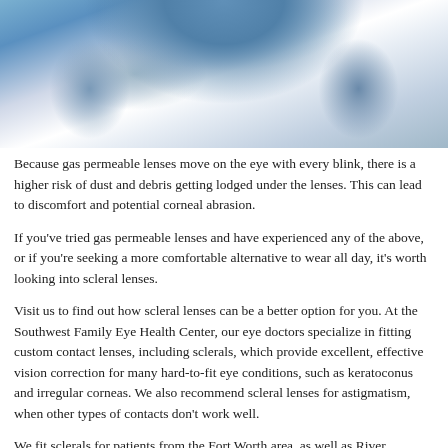[Figure (photo): Woman in denim jacket with arms raised above her head, smiling, wearing a white top underneath]
Because gas permeable lenses move on the eye with every blink, there is a higher risk of dust and debris getting lodged under the lenses. This can lead to discomfort and potential corneal abrasion.
If you've tried gas permeable lenses and have experienced any of the above, or if you're seeking a more comfortable alternative to wear all day, it's worth looking into scleral lenses.
Visit us to find out how scleral lenses can be a better option for you. At the Southwest Family Eye Health Center, our eye doctors specialize in fitting custom contact lenses, including sclerals, which provide excellent, effective vision correction for many hard-to-fit eye conditions, such as keratoconus and irregular corneas. We also recommend scleral lenses for astigmatism, when other types of contacts don't work well.
We fit sclerals for patients from the Fort Worth area, as well as River